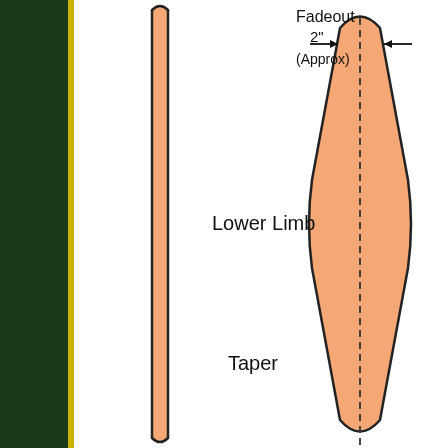[Figure (engineering-diagram): Engineering diagram showing two vertical structures side by side. On the left, a dark green/black vertical bar with a thin yellow stripe. In the center-left, a tall narrow orange/salmon colored rod or limb shape. On the right, a fusiform (spindle-shaped) orange/salmon structure with a dashed centerline, labeled with 'Fadeout' at the top, a '2" (Approx)' dimension annotation with arrows indicating width, 'Lower Limb' in the middle, and 'Taper' near the bottom.]